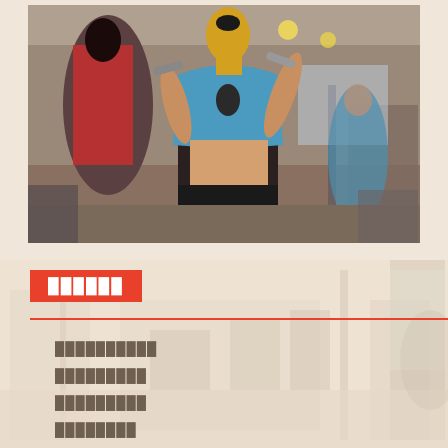[Figure (photo): Two women lifting dumbbells at a gym, viewed from behind. The central figure wears a blue sports bra and black BeautyroBics pants. A gym with equipment is visible in the background.]
[Figure (photo): Blurred/faded background image of a gym interior with exercise equipment, used as a page background behind the lower content section.]
██████
██████████
█████████
█████████
████████
███████████